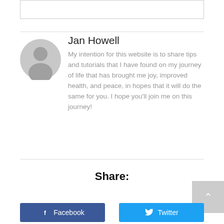[Figure (other): Empty rectangle box at top of page]
[Figure (illustration): Grey circular avatar/profile placeholder icon]
Jan Howell
My intention for this website is to share tips and tutorials that I have found on my journey of life that has brought me joy, improved health, and peace, in hopes that it will do the same for you. I hope you'll join me on this journey!
Share:
[Figure (other): Facebook share button - dark blue with Facebook logo icon and text 'Facebook']
[Figure (other): Twitter share button - light blue with Twitter bird icon and text 'Twitter']